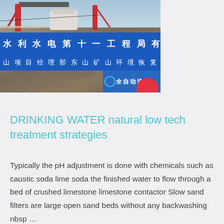[Figure (photo): Construction site photo with Chinese text banners. Shows heavy construction equipment on a hillside/cliff with blue banners reading: 水利水电第十一工程局有限 and 山项目经理部东山矿山环境恢复治理项. A smaller sub-panel reads 全自动洗 with a red circular element.]
DRINKING WATER natural low tech treatment strategies
Typically the pH adjustment is done with chemicals such as caustic soda lime soda the finished water to flow through a bed of crushed limestone limestone contactor Slow sand filters are large open sand beds without any backwashing nbsp …